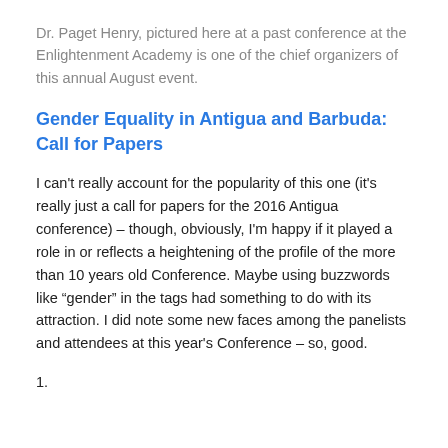Dr. Paget Henry, pictured here at a past conference at the Enlightenment Academy is one of the chief organizers of this annual August event.
Gender Equality in Antigua and Barbuda: Call for Papers
I can't really account for the popularity of this one (it's really just a call for papers for the 2016 Antigua conference) – though, obviously, I'm happy if it played a role in or reflects a heightening of the profile of the more than 10 years old Conference. Maybe using buzzwords like “gender” in the tags had something to do with its attraction. I did note some new faces among the panelists and attendees at this year's Conference – so, good.
1.